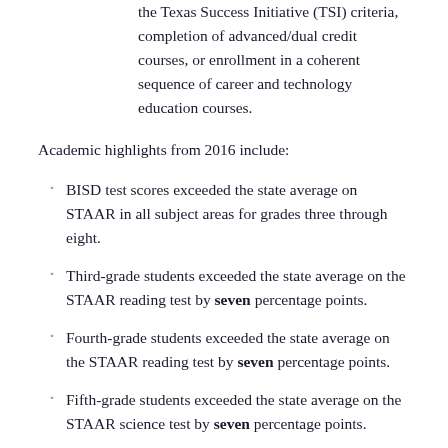the Texas Success Initiative (TSI) criteria, completion of advanced/dual credit courses, or enrollment in a coherent sequence of career and technology education courses.
Academic highlights from 2016 include:
BISD test scores exceeded the state average on STAAR in all subject areas for grades three through eight.
Third-grade students exceeded the state average on the STAAR reading test by seven percentage points.
Fourth-grade students exceeded the state average on the STAAR reading test by seven percentage points.
Fifth-grade students exceeded the state average on the STAAR science test by seven percentage points.
Sixth-grade students exceeded the state average on the STAAR math test by seven percentage points.